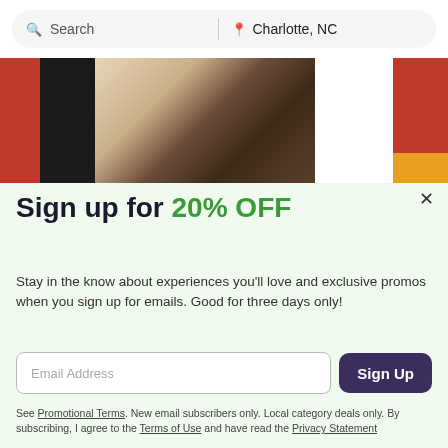Search | Charlotte, NC
[Figure (photo): Two people standing in front of red and black lockers]
Sign up for 20% OFF
Stay in the know about experiences you'll love and exclusive promos when you sign up for emails. Good for three days only!
Email Address [Sign Up button]
See Promotional Terms. New email subscribers only. Local category deals only. By subscribing, I agree to the Terms of Use and have read the Privacy Statement